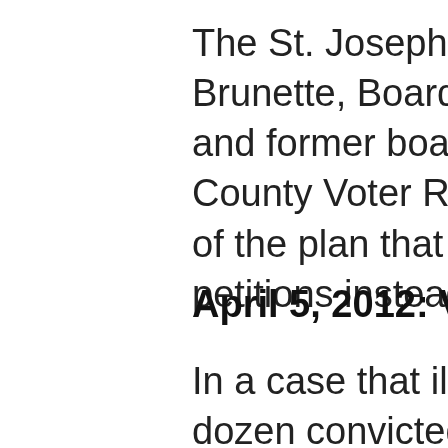The St. Joseph County Board o... Brunette, Board of Voter Regis... and former board worker Dust... County Voter Registration Offic... of the plan that started in Janu... petitions instead of collecting a...
April 5, 2012: Voter-Registrati...
In a case that illustrates the ne... dozen convicted felons have be... during the 2008 presidential ca...